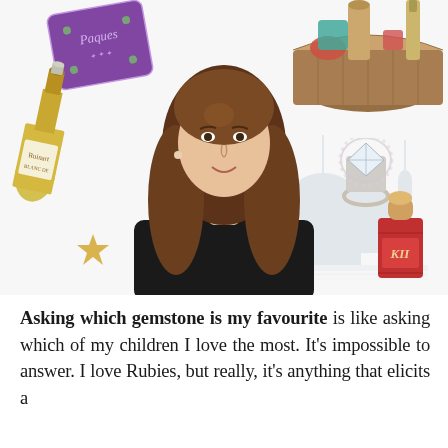[Figure (photo): Collage image featuring a smiling brunette woman in a black top, surrounded by lifestyle products: a purple gift box, a champagne bottle, a wicker hamper with foods and wine, a large diamond ring, a red perfume bottle, a decorative star, and a faded Taj Mahal/mosque illustration in the background.]
Asking which gemstone is my favourite is like asking which of my children I love the most. It's impossible to answer. I love Rubies, but really, it's anything that elicits a